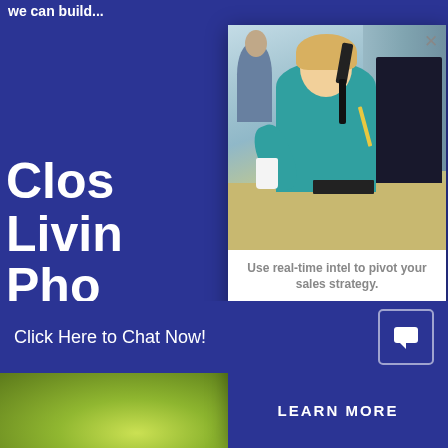we can build...
Clos
Livin
Pho
Contac
occupa
CONTA
[Figure (photo): Woman smiling and talking on the phone at an office desk with a computer monitor, coffee cup, and office cubicles in the background]
Use real-time intel to pivot your sales strategy.
Understand your buyer experience and sales trends with a complementary
Click Here to Chat Now!
LEARN MORE